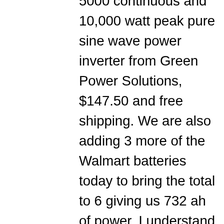5000 continuous and 10,000 watt peak pure sine wave power inverter from Green Power Solutions, $147.50 and free shipping. We are also adding 3 more of the Walmart batteries today to bring the total to 6 giving us 732 ah of power. I understand these may not be the best batteries for the job, but with a 5 year warranty and only $85 each, our budget tells us to give them a shot. I will keep you updated as how it all works out as we get it online and in use. I decided to build a battery compartment on the rear bumper using 3/4 treated plywood and drilled venting holes around the sides and added a hinged roof for easy access keeping the on board genny in tact. Until next time,